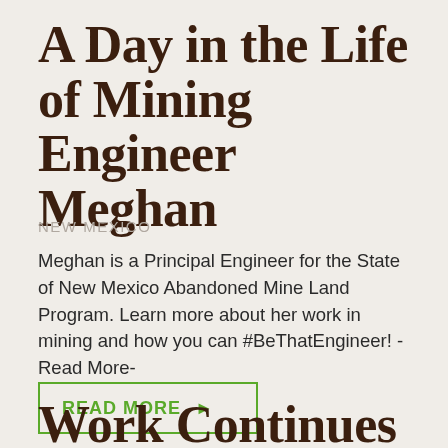A Day in the Life of Mining Engineer Meghan
NEW MEXICO
Meghan is a Principal Engineer for the State of New Mexico Abandoned Mine Land Program. Learn more about her work in mining and how you can #BeThatEngineer! -Read More-
READ MORE ▶
Work Continues On Land